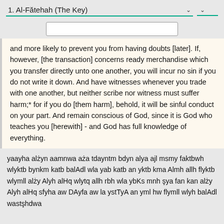1. Al-Fătehah (The Key)
and more likely to prevent you from having doubts [later]. If, however, [the transaction] concerns ready merchandise which you transfer directly unto one another, you will incur no sin if you do not write it down. And have witnesses whenever you trade with one another, but neither scribe nor witness must suffer harm;* for if you do [them harm], behold, it will be sinful conduct on your part. And remain conscious of God, since it is God who teaches you [herewith] - and God has full knowledge of everything.
yaayha alżyn aamnwa aża tdayntm bdyn alya ajl msmy faktbwh wlyktb bynkm katb balAdl wla yab katb an yktb kma Almh allh flyktb wlymll alży Alyh alHq wlytq allh rbh wla ybKs mnh şya fan kan alży Alyh alHq sfyha aw DAyfa aw la ystTyA an yml hw flymll wlyh balAdl wastşhdwa